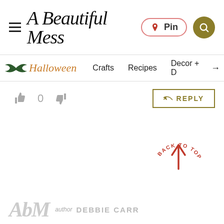A Beautiful Mess — Pin | Search
Halloween | Crafts | Recipes | Decor + D →
[Figure (screenshot): Reaction icons (thumbs up, count 0, thumbs down) and a gold-bordered REPLY button]
[Figure (infographic): Back to Top button with arc text and upward arrow in red/coral]
AbM  author  DEBBIE CARR